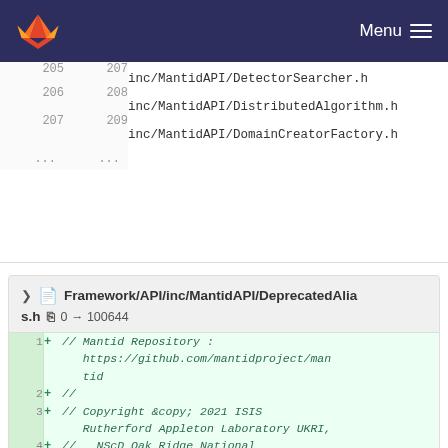GitLab Menu
| old | new | code |
| --- | --- | --- |
| 205 | 207 | inc/MantidAPI/DetectorSearcher.h |
| 206 | 208 | inc/MantidAPI/DistributedAlgorithm.h |
| 207 | 209 | inc/MantidAPI/DomainCreatorFactory.h |
| ... | ... |  |
Framework/API/inc/MantidAPI/DeprecatedAliases.h  0 → 100644
| line | + | code |
| --- | --- | --- |
| 1 | + | // Mantid Repository : https://github.com/mantidproject/mantid |
| 2 | + | // |
| 3 | + | // Copyright &copy; 2021 ISIS Rutherford Appleton Laboratory UKRI, |
| 4 | + | //   NScD Oak Ridge National Laboratory, European Spallation Source, |
| 5 | + | //   Institut Laue - Langevin & |